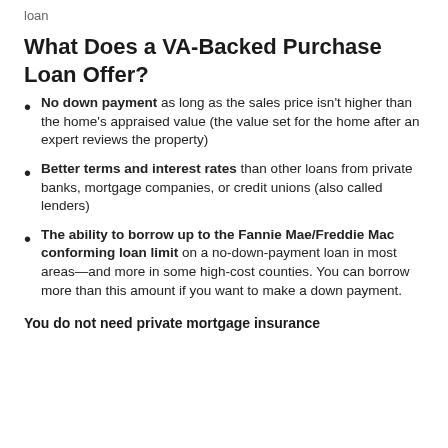loan
What Does a VA-Backed Purchase Loan Offer?
No down payment as long as the sales price isn't higher than the home's appraised value (the value set for the home after an expert reviews the property)
Better terms and interest rates than other loans from private banks, mortgage companies, or credit unions (also called lenders)
The ability to borrow up to the Fannie Mae/Freddie Mac conforming loan limit on a no-down-payment loan in most areas—and more in some high-cost counties. You can borrow more than this amount if you want to make a down payment.
You do not need private mortgage insurance